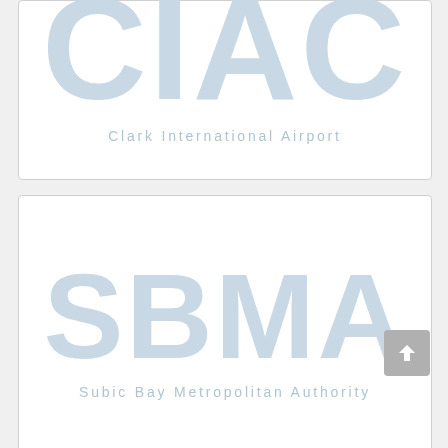[Figure (logo): CIAC - Clark International Airport logo with large light blue acronym and spaced full name text]
[Figure (logo): SBMA - Subic Bay Metropolitan Authority logo with large light blue acronym and spaced full name text]
[Figure (logo): Partial third logo card visible at bottom of page]